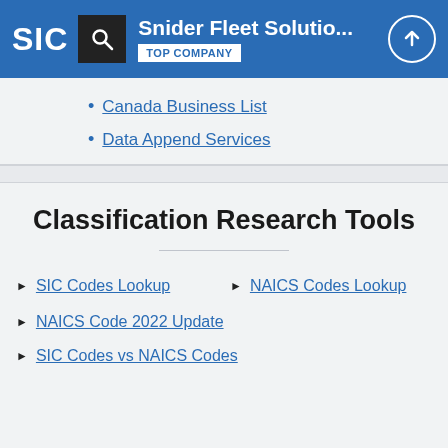Snider Fleet Solutio... TOP COMPANY
Canada Business List
Data Append Services
Classification Research Tools
SIC Codes Lookup
NAICS Codes Lookup
NAICS Code 2022 Update
SIC Codes vs NAICS Codes